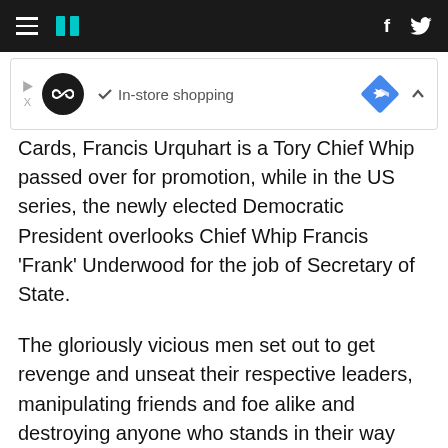HuffPost navigation bar with hamburger menu, logo, Facebook and Twitter icons
[Figure (other): Advertisement banner with play/pause controls, infinity loop icon, checkmark 'In-store shopping' text, and a blue diamond direction sign icon]
Cards, Francis Urquhart is a Tory Chief Whip passed over for promotion, while in the US series, the newly elected Democratic President overlooks Chief Whip Francis 'Frank' Underwood for the job of Secretary of State.
The gloriously vicious men set out to get revenge and unseat their respective leaders, manipulating friends and foe alike and destroying anyone who stands in their way with a wry grin and a stab in the back.
Mild-mannered Gove, however, does not quite